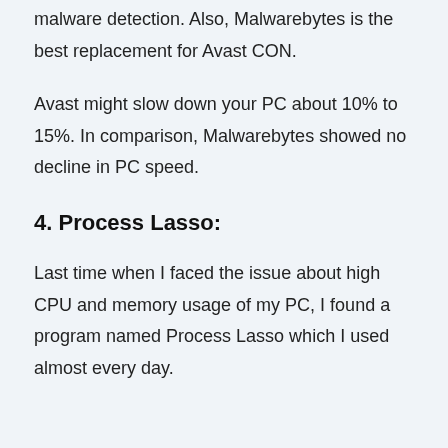malware detection. Also, Malwarebytes is the best replacement for Avast CON.
Avast might slow down your PC about 10% to 15%. In comparison, Malwarebytes showed no decline in PC speed.
4. Process Lasso:
Last time when I faced the issue about high CPU and memory usage of my PC, I found a program named Process Lasso which I used almost every day.